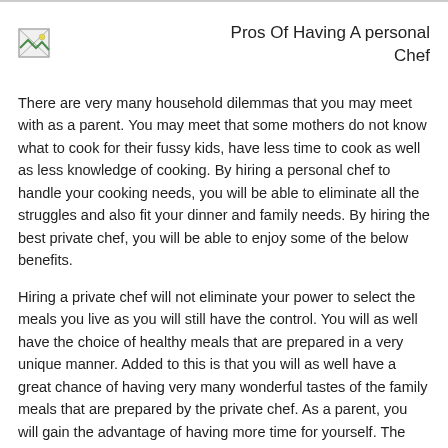[Figure (illustration): Small broken/placeholder image icon in the top-left corner of the page header]
Pros Of Having A personal Chef
There are very many household dilemmas that you may meet with as a parent. You may meet that some mothers do not know what to cook for their fussy kids, have less time to cook as well as less knowledge of cooking. By hiring a personal chef to handle your cooking needs, you will be able to eliminate all the struggles and also fit your dinner and family needs. By hiring the best private chef, you will be able to enjoy some of the below benefits.
Hiring a private chef will not eliminate your power to select the meals you live as you will still have the control. You will as well have the choice of healthy meals that are prepared in a very unique manner. Added to this is that you will as well have a great chance of having very many wonderful tastes of the family meals that are prepared by the private chef. As a parent, you will gain the advantage of having more time for yourself. The time can be spent with friends as well chatting with your family.
The time that you take in the kitchen chopping vegetables and